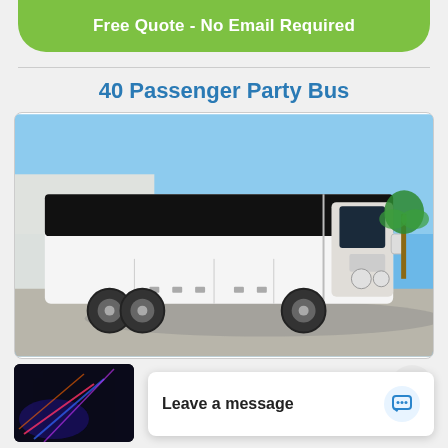Free Quote - No Email Required
40 Passenger Party Bus
[Figure (photo): A large white 40-passenger party bus photographed outdoors under a clear blue sky, with a building and palm trees in the background.]
[Figure (photo): Partial thumbnail of a vehicle interior with colorful lights, partially visible at bottom left.]
Leave a message